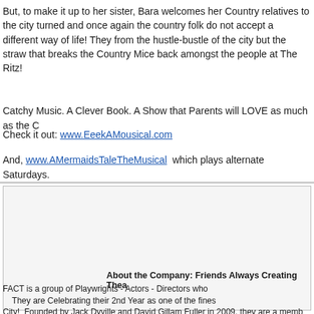But, to make it up to her sister, Bara welcomes her Country relatives to the city turned and once again the country folk do not accept a different way of life! They from the hustle-bustle of the city but the straw that breaks the Country Mice back amongst the people at The Ritz!
Catchy Music. A Clever Book. A Show that Parents will LOVE as much as the C
Check it out: www.EeekAMousical.com
And, www.AMermaidsTaleTheMusical  which plays alternate Saturdays.
[Figure (illustration): Cartoon illustration of two mice characters in black and white sketch style]
Eeek! A Mousical | Open: 01/27/11 Close: 02/05/1 A 21st Century update of the Aesop Fable, 'A City Mou (Off-Bdway; Menopuase, The Musical) in the role of Co STANTON (Bdway: Angela Lansbury-A Celebration, O Bara. When the City Mom only wants a little peace and screeching traffic, cell phones and texting, she accepts sister in the country. Her family is not too keen on sewi Wheat Pageants and Hilarity ensues!!!
About the Company: Friends Always Creating Thea
FACT is a group of Playwrights - Actors - Directors who They are Celebrating their 2nd Year as one of the fines City! Founded by Jack Dyville and David Gillam Fuller in 2009, they are a memb than 70 Actors, 10 Directors and 20+ Playwrights. With their 2010-2011 Season